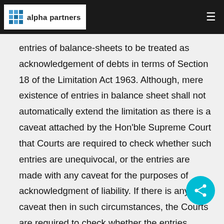alpha partners
Court has not only resolved the debate but also settled the position of law with respect to entries of balance-sheets to be treated as acknowledgement of debts in terms of Section 18 of the Limitation Act 1963. Although, mere existence of entries in balance sheet shall not automatically extend the limitation as there is a caveat attached by the Hon'ble Supreme Court that Courts are required to check whether such entries are unequivocal, or the entries are made with any caveat for the purposes of acknowledgment of liability. If there is any caveat then in such circumstances, the Courts are required to check whether the entries would amount to